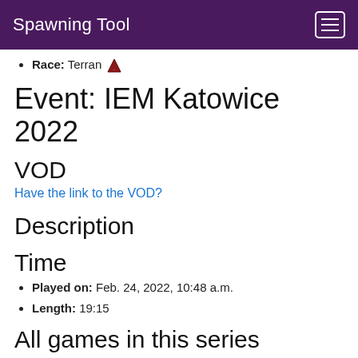Spawning Tool
Race: Terran
Event: IEM Katowice 2022
VOD
Have the link to the VOD?
Description
Time
Played on: Feb. 24, 2022, 10:48 a.m.
Length: 19:15
All games in this series
Game 1 - [ESL] Blackburn
Game 2 - [ESL] Glittering Ashes